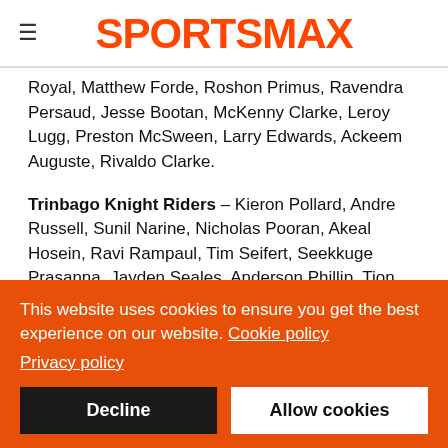SPORTSMAX
Royal, Matthew Forde, Roshon Primus, Ravendra Persaud, Jesse Bootan, McKenny Clarke, Leroy Lugg, Preston McSween, Larry Edwards, Ackeem Auguste, Rivaldo Clarke.
Trinbago Knight Riders – Kieron Pollard, Andre Russell, Sunil Narine, Nicholas Pooran, Akeal Hosein, Ravi Rampaul, Tim Seifert, Seekkuge Prasanna, Jayden Seales, Anderson Phillip, Tion Webster, Khary Pierre, Leonardo Julien, Terrance Hinds,
This website uses cookies to ensure you get the best experience on our website. Cookie policy
Privacy policy
Decline
Allow cookies